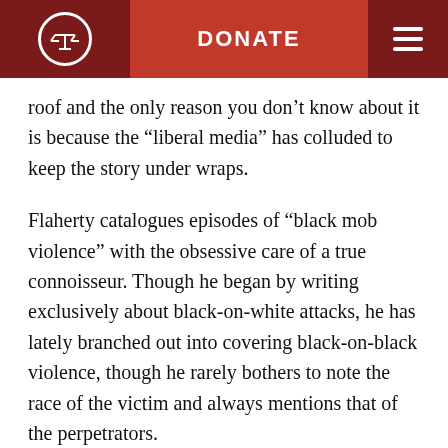DONATE
roof and the only reason you don't know about it is because the “liberal media” has colluded to keep the story under wraps.
Flaherty catalogues episodes of “black mob violence” with the obsessive care of a true connoisseur. Though he began by writing exclusively about black-on-white attacks, he has lately branched out into covering black-on-black violence, though he rarely bothers to note the race of the victim and always mentions that of the perpetrators.